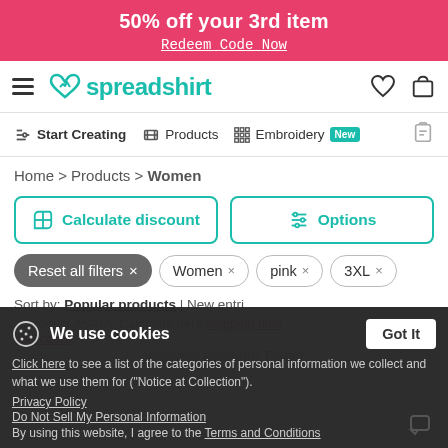50% off your 3rd item
Redeem Code Now
[Figure (logo): Spreadshirt logo with heart icon in teal]
Start Creating | Products | Embroidery New
Home > Products > Women
Calculate discount | Options
Reset all filters ×  Women ×  pink ×  3XL ×
Sort by: Popular products | New entri...
We use cookies
Click here to see a list of the categories of personal information we collect and what we use them for ("Notice at Collection").
Privacy Policy
Do Not Sell My Personal Information
By using this website, I agree to the Terms and Conditions
...product ASAP? Calculate here shipping time and costs
Womens Premium T-Shirt